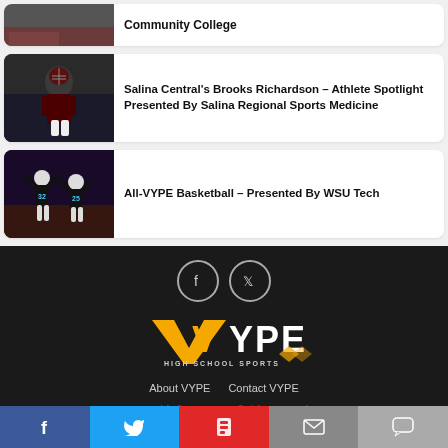[Figure (photo): Partial top card showing athlete photo with SOLOMON text and article text about Community College]
Community College
[Figure (photo): Baseball catcher in dark uniform, Salina Central athlete Brooks Richardson]
Salina Central's Brooks Richardson – Athlete Spotlight Presented By Salina Regional Sports Medicine
[Figure (photo): Basketball players including players with numbers 32 and 25]
All-VYPE Basketball – Presented By WSU Tech
[Figure (logo): VYPE High School Sports logo with social media icons (Facebook, Twitter)]
About VYPE   Contact VYPE
Copyright © 2021 VYPE. All Rights Reserved.
Facebook | Twitter | Flipboard | Email | Comment